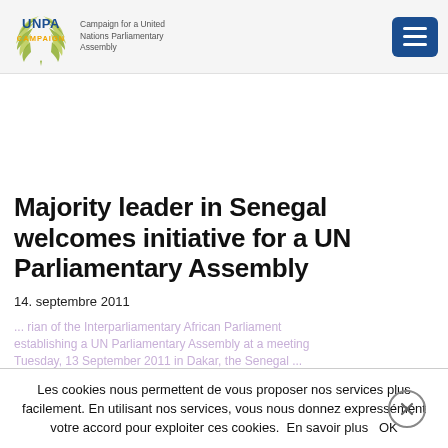UNPA CAMPAIGN — Campaign for a United Nations Parliamentary Assembly
Majority leader in Senegal welcomes initiative for a UN Parliamentary Assembly
14. septembre 2011
Les cookies nous permettent de vous proposer nos services plus facilement. En utilisant nos services, vous nous donnez expressément votre accord pour exploiter ces cookies.  En savoir plus   OK